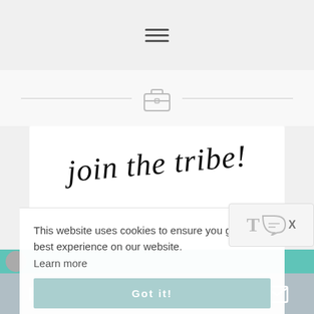[Figure (screenshot): Website screenshot showing a navigation hamburger menu icon, a divider with briefcase icon, a handwritten-style 'join the tribe!' heading, a cookie consent overlay, a teal subscription bar, and a social sharing bar at the bottom.]
This website uses cookies to ensure you get the best experience on our website. Learn more
Got it!